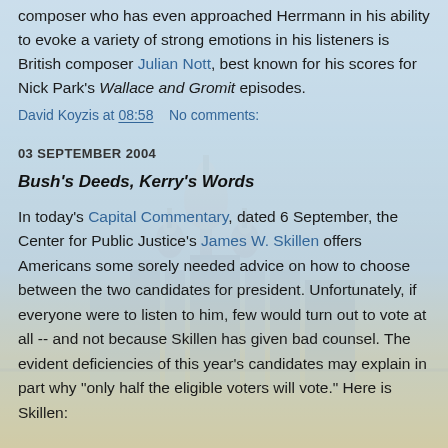composer who has even approached Herrmann in his ability to evoke a variety of strong emotions in his listeners is British composer Julian Nott, best known for his scores for Nick Park's Wallace and Gromit episodes.
David Koyzis at 08:58    No comments:
03 SEPTEMBER 2004
Bush's Deeds, Kerry's Words
In today's Capital Commentary, dated 6 September, the Center for Public Justice's James W. Skillen offers Americans some sorely needed advice on how to choose between the two candidates for president. Unfortunately, if everyone were to listen to him, few would turn out to vote at all -- and not because Skillen has given bad counsel. The evident deficiencies of this year's candidates may explain in part why "only half the eligible voters will vote." Here is Skillen: